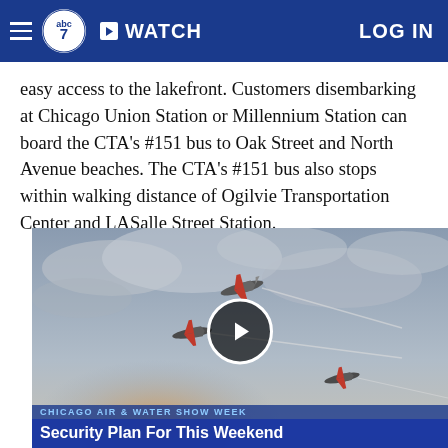abc7 | WATCH | LOG IN
easy access to the lakefront. Customers disembarking at Chicago Union Station or Millennium Station can board the CTA's #151 bus to Oak Street and North Avenue beaches. The CTA's #151 bus also stops within walking distance of Ogilvie Transportation Center and LASalle Street Station.
[Figure (screenshot): Video thumbnail showing airplanes flying in formation against a cloudy sky. Lower thirds show 'CHICAGO AIR & WATER SHOW WEEK' and 'Security Plan For This Weekend'. A play button overlay is centered on the image.]